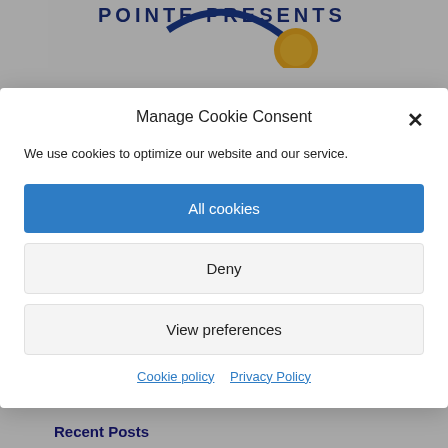[Figure (screenshot): Partial logo at top showing 'POINTE PRESENTS' text with blue arc and gold coin graphic on grey background]
Manage Cookie Consent
We use cookies to optimize our website and our service.
All cookies
Deny
View preferences
Cookie policy   Privacy Policy
[Figure (screenshot): Partial search bar at bottom with Search button on grey background]
Recent Posts